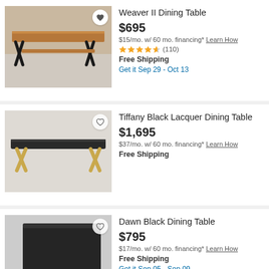[Figure (photo): Weaver II Dining Table with walnut top and black X-shaped legs]
Weaver II Dining Table
$695
$15/mo. w/ 60 mo. financing* Learn How
★★★★☆ (110)
Free Shipping
Get it Sep 29 - Oct 13
[Figure (photo): Tiffany Black Lacquer Dining Table with black top and gold X-shaped legs]
Tiffany Black Lacquer Dining Table
$1,695
$37/mo. w/ 60 mo. financing* Learn How
Free Shipping
[Figure (photo): Dawn Black Dining Table with square black top and pedestal base]
Dawn Black Dining Table
$795
$17/mo. w/ 60 mo. financing* Learn How
Free Shipping
Get it Sep 05 - Sep 09